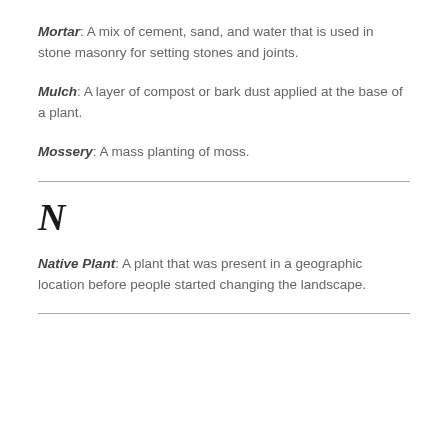Mortar: A mix of cement, sand, and water that is used in stone masonry for setting stones and joints.
Mulch: A layer of compost or bark dust applied at the base of a plant.
Mossery: A mass planting of moss.
N
Native Plant: A plant that was present in a geographic location before people started changing the landscape.